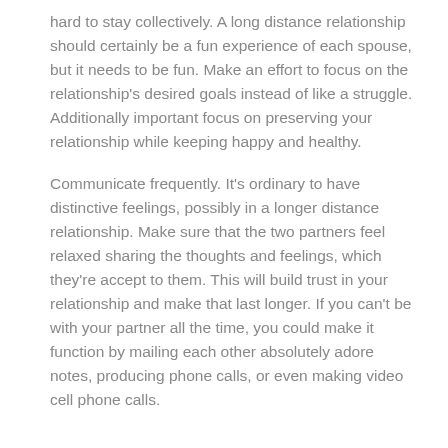hard to stay collectively. A long distance relationship should certainly be a fun experience of each spouse, but it needs to be fun. Make an effort to focus on the relationship's desired goals instead of like a struggle. Additionally important focus on preserving your relationship while keeping happy and healthy.
Communicate frequently. It's ordinary to have distinctive feelings, possibly in a longer distance relationship. Make sure that the two partners feel relaxed sharing the thoughts and feelings, which they're accept to them. This will build trust in your relationship and make that last longer. If you can't be with your partner all the time, you could make it function by mailing each other absolutely adore notes, producing phone calls, or even making video cell phone calls.